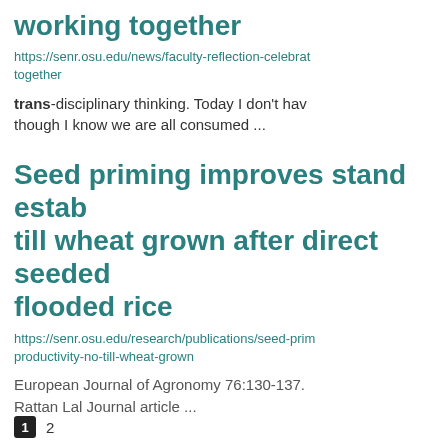working together
https://senr.osu.edu/news/faculty-reflection-celebrat together
trans-disciplinary thinking. Today I don't hav though I know we are all consumed ...
Seed priming improves stand estab till wheat grown after direct seeded flooded rice
https://senr.osu.edu/research/publications/seed-prim productivity-no-till-wheat-grown
European Journal of Agronomy 76:130-137. Rattan Lal Journal article ...
1  2